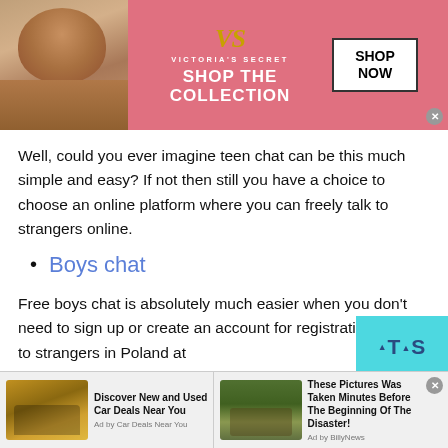[Figure (screenshot): Victoria's Secret advertisement banner with model, logo, 'SHOP THE COLLECTION' text, and 'SHOP NOW' button on pink background]
Well, could you ever imagine teen chat can be this much simple and easy? If not then still you have a choice to choose an online platform where you can freely talk to strangers online.
Boys chat
Free boys chat is absolutely much easier when you don't need to sign up or create an account for registration. Talking to strangers in Poland at TAS
[Figure (screenshot): Two bottom advertisement units: 'Discover New and Used Car Deals Near You' by Car Deals Near You, and 'These Pictures Was Taken Minutes Before The Beginning Of The Disaster!' by BillyNews]